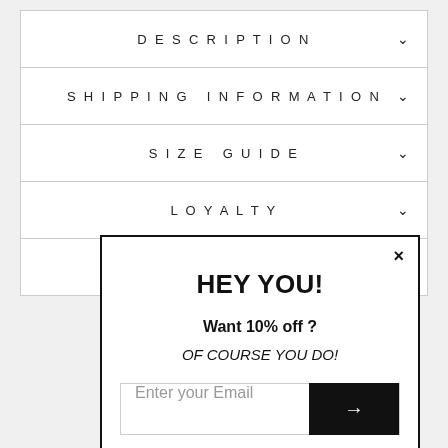DESCRIPTION
SHIPPING INFORMATION
SIZE GUIDE
LOYALTY
ASK A QUESTION
HEY YOU!
Want 10% off ?
OF COURSE YOU DO!
Enter your Email
YOU MAY ALSO LIKE